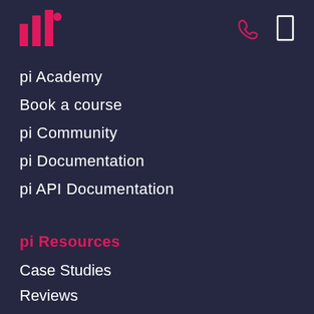[Figure (logo): Pink/red bar chart style logo icon for 'pi' brand]
[Figure (illustration): Pink phone/call icon in top right header area]
[Figure (illustration): White rectangle/bookmark icon in top right header area]
pi Academy
Book a course
pi Community
pi Documentation
pi API Documentation
pi Resources
Case Studies
Reviews
Videos
Data connectors